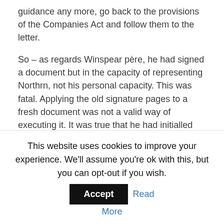guidance any more, go back to the provisions of the Companies Act and follow them to the letter.
So – as regards Winspear père, he had signed a document but in the capacity of representing Northrn, not his personal capacity. This was fatal. Applying the old signature pages to a fresh document was not a valid way of executing it. It was true that he had initialled the pages of the document, and initials could in theory constitute a signature, but the initials were not attested by a witness and so were invalid as an execution of the document as a deed. In any case, he had not initialled the signature pages.
This all meant that the document had not been validly executed. The sting in the tail was that the doctrine of
This website uses cookies to improve your experience. We'll assume you're ok with this, but you can opt-out if you wish. Accept Read More